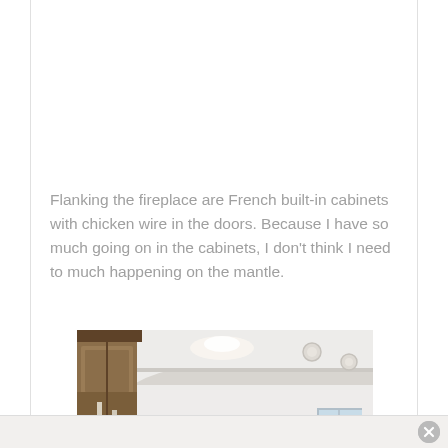Flanking the fireplace are French built-in cabinets with chicken wire in the doors. Because I have so much going on in the cabinets, I don't think I need to much happening on the mantle.
[Figure (photo): Interior room photo showing white ceiling with recessed lighting, crown molding, dark wood built-in cabinet on the left, and a window visible in the lower right.]